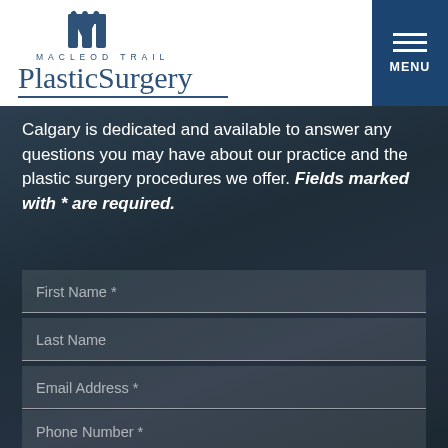[Figure (logo): Macleod Trail Plastic Surgery logo with stylized M icon, text MACLEOD TRAIL above PlasticSurgery in serif font, with underline]
Calgary is dedicated and available to answer any questions you may have about our practice and the plastic surgery procedures we offer. Fields marked with * are required.
First Name *
Last Name
Email Address *
Phone Number *